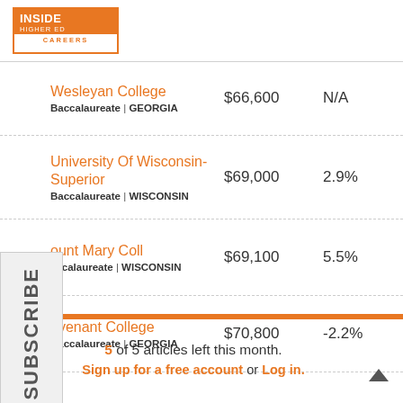Inside Higher Ed Careers
| Institution | Salary | Change |
| --- | --- | --- |
| Wesleyan College
Baccalaureate | GEORGIA | $66,600 | N/A |
| University Of Wisconsin-Superior
Baccalaureate | WISCONSIN | $69,000 | 2.9% |
| Mount Mary Coll
Baccalaureate | WISCONSIN | $69,100 | 5.5% |
| Covenant College
Baccalaureate | GEORGIA | $70,800 | -2.2% |
5 of 5 articles left this month.
Sign up for a free account or Log in.